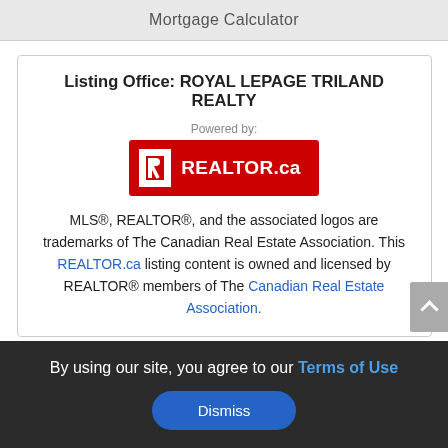Mortgage Calculator
Listing Office: ROYAL LEPAGE TRILAND REALTY
[Figure (logo): REALTOR.ca logo — red rectangle with white R icon and white REALTOR.ca text, with 'Powered by:' label above]
MLS®, REALTOR®, and the associated logos are trademarks of The Canadian Real Estate Association. This REALTOR.ca listing content is owned and licensed by REALTOR® members of The Canadian Real Estate Association.
By using our site, you agree to our Terms of Use
Dismiss